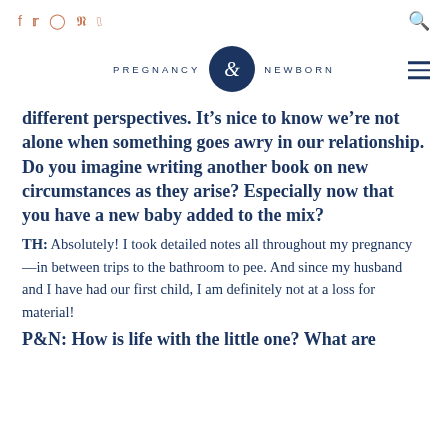f  y  [instagram]  p  [tiktok]   [search]
[Figure (logo): Pregnancy & Newborn magazine logo with navy text PREGNANCY and NEWBORN flanking a circular navy emblem with ampersand]
different perspectives. It’s nice to know we’re not alone when something goes awry in our relationship. Do you imagine writing another book on new circumstances as they arise? Especially now that you have a new baby added to the mix?
TH: Absolutely! I took detailed notes all throughout my pregnancy—in between trips to the bathroom to pee. And since my husband and I have had our first child, I am definitely not at a loss for material!
P&N: How is life with the little one? What are